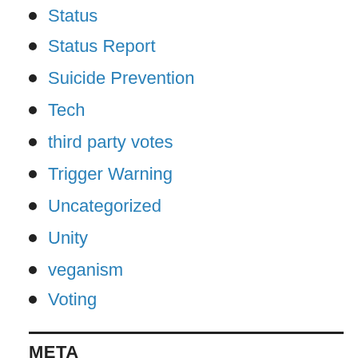Status
Status Report
Suicide Prevention
Tech
third party votes
Trigger Warning
Uncategorized
Unity
veganism
Voting
WBC
WordOfTheDay
META